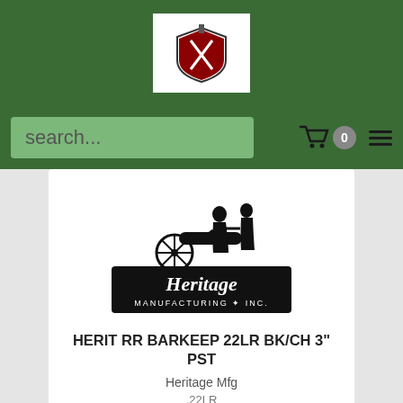[Figure (logo): Right to Bear Arms logo - shield with crossed guns on white background]
[Figure (logo): Heritage Manufacturing Inc. logo - black and white illustration of Civil War soldiers with cannon and decorative text]
HERIT RR BARKEEP 22LR BK/CH 3" PST
Heritage Mfg
.22LR
$160.99
Add To Cart